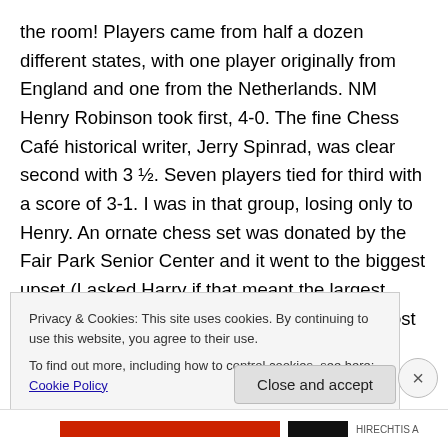the room! Players came from half a dozen different states, with one player originally from England and one from the Netherlands. NM Henry Robinson took first, 4-0. The fine Chess Café historical writer, Jerry Spinrad, was clear second with 3 ½. Seven players tied for third with a score of 3-1. I was in that group, losing only to Henry. An ornate chess set was donated by the Fair Park Senior Center and it went to the biggest upset (I asked Harry if that meant the largest rating differential, or the player who got the most upset after a loss, which brought a smile to his mug). My
first round opponent, Larry Grahn, rated 999, hosted my...
Privacy & Cookies: This site uses cookies. By continuing to use this website, you agree to their use.
To find out more, including how to control cookies, see here: Cookie Policy
Close and accept